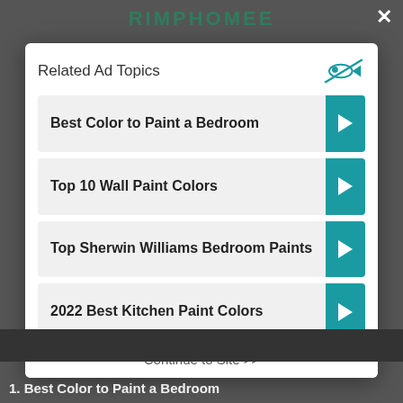RIMPHOMEE
Related Ad Topics
Best Color to Paint a Bedroom
Top 10 Wall Paint Colors
Top Sherwin Williams Bedroom Paints
2022 Best Kitchen Paint Colors
Continue to Site >>